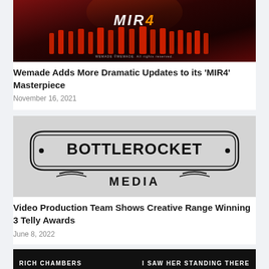[Figure (photo): MIR4 game promotional image showing red-clad figures and MIR4 logo]
Wemade Adds More Dramatic Updates to its 'MIR4' Masterpiece
November 16, 2021
[Figure (logo): Bottle Rocket Media logo — black text on light grey background with decorative border]
Video Production Team Shows Creative Range Winning 3 Telly Awards
June 8, 2022
[Figure (photo): Rich Chambers — I Saw Her Standing There — dark banner image with white text]